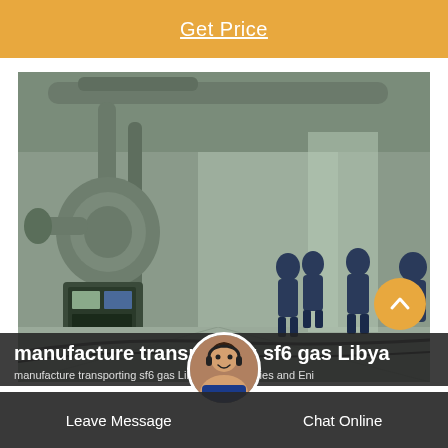Get Price
[Figure (photo): Industrial interior showing large SF6 gas equipment, pipes, valves, and machinery in a facility. Several workers in blue uniforms visible in the background corridor.]
manufacture transporting sf6 gas Libya
manufacture transporting sf6 gas Libya TotalEnergies and Eni
Leave Message   Chat Online